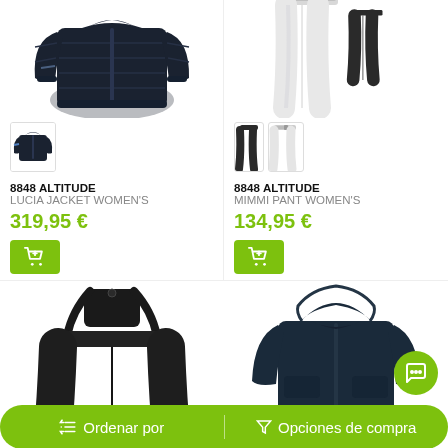[Figure (photo): Dark navy quilted down jacket - main product image top left]
[Figure (photo): Small thumbnail of dark jacket with blue stripe detail]
8848 ALTITUDE
LUCIA JACKET WOMEN'S
319,95 €
[Figure (photo): White ski pants - main product image top right, two views]
[Figure (photo): Two small thumbnails: black ski pants and white ski pants]
8848 ALTITUDE
MIMMI PANT WOMEN'S
134,95 €
[Figure (photo): Black ski bib pants with suspenders - bottom left product]
[Figure (photo): Dark navy hooded ski jacket - bottom right product]
Ordenar por
Opciones de compra